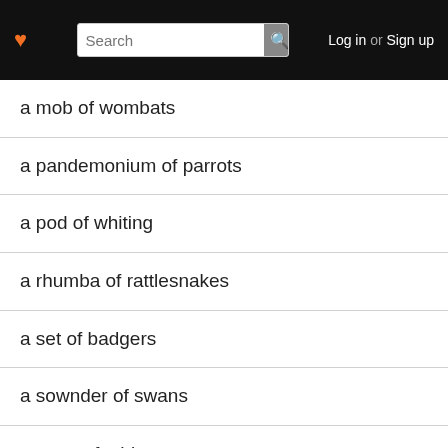♥  Search  Log in or Sign up
a mob of wombats
a pandemonium of parrots
a pod of whiting
a rhumba of rattlesnakes
a set of badgers
a sownder of swans
a team of athletes
a trip of wildfowl
a charm of goldfinches